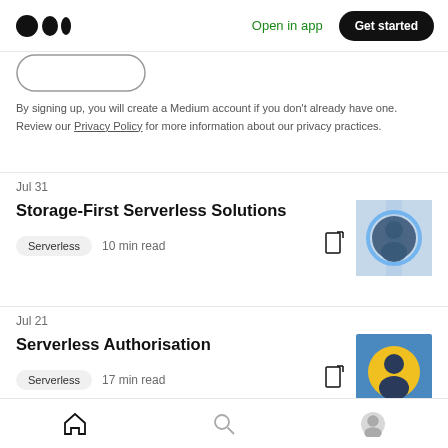Medium — Open in app | Get started
[Figure (screenshot): Partial signup button (rounded rectangle outline)]
By signing up, you will create a Medium account if you don't already have one. Review our Privacy Policy for more information about our privacy practices.
Jul 31
Storage-First Serverless Solutions
Serverless  10 min read
[Figure (photo): Circular avatar photo of a person on a blue background with glowing blue ring]
Jul 21
Serverless Authorisation
Serverless  17 min read
[Figure (photo): Circular avatar photo of a person on a yellow circle background with blue background]
Home | Search | Profile